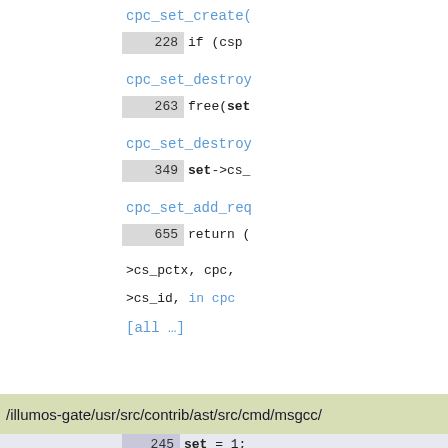[Figure (screenshot): Code search results showing C source file snippets from illumos-gate codebase. Top section shows lines from cpc_set functions with line numbers 228, 263, 349, 655 containing code references to csp, free(set, set->cs_, and return statements. A directory header bar shows /illumos-gate/usr/src/contrib/ast/src/cmd/msgcc/. Bottom section shows lines 245, 264, 278, 279, 282, 283, 296, 297 from msggen.c with set variable operations and main() function references. Left side shows 'HAD' label and filename 'msggen.c'.]